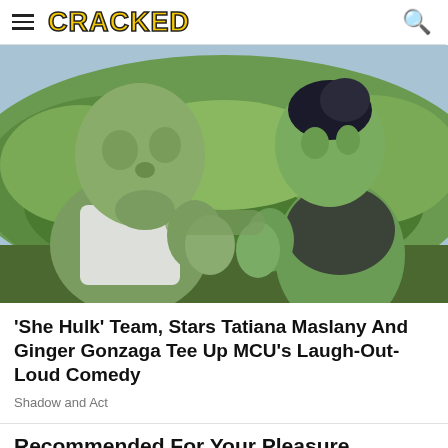CRACKED
[Figure (photo): Two CGI green-skinned Hulk characters facing each other with hands pressed together in a jungle/outdoor setting. The larger male Hulk on the left wears a white tank top, and the female She-Hulk on the right wears a dark top with hair up. Scene from the Marvel Disney+ show 'She-Hulk'.]
'She Hulk' Team, Stars Tatiana Maslany And Ginger Gonzaga Tee Up MCU's Laugh-Out-Loud Comedy
Shadow and Act
Recommended For Your Pleasure